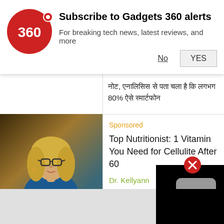[Figure (screenshot): Gadgets 360 logo — red circle with white '360' text and red dot]
Subscribe to Gadgets 360 alerts
For breaking tech news, latest reviews, and more
No   YES
नोट, एनालिसिस से पता चला है कि लगभग 80% ऐसे स्मार्टफोन
Sponsored
[Figure (photo): Woman with glasses and blonde hair, wearing blue jacket]
Top Nutritionist: 1 Vitamin You Need for Cellulite After 60
Dr. Kellyann
437 km की रेंज देगा Tata नमो, ग्राहकों मिल 276% का ड
More Te